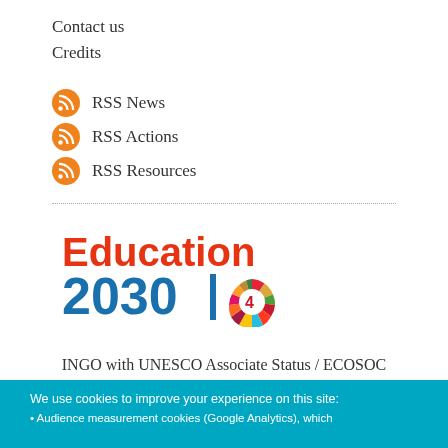Contact us
Credits
RSS News
RSS Actions
RSS Resources
[Figure (logo): Education 2030 logo with SDG wheel icon]
INGO with UNESCO Associate Status / ECOSOC Consutative Status
We use cookies to improve your experience on this site: • Audience measurement cookies (Google Analytics), which